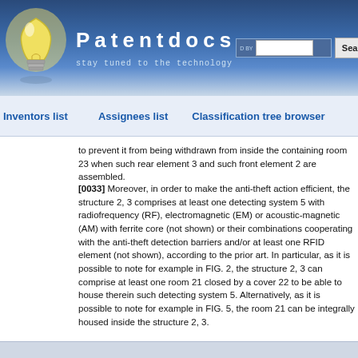[Figure (screenshot): Patentdocs website header with light bulb logo, 'Patentdocs' brand name, 'stay tuned to the technology' tagline, and Google search bar with Search button]
Inventors list | Assignees list | Classification tree browser
to prevent it from being withdrawn from inside the containing room 23 when such rear element 3 and such front element 2 are assembled.
[0033] Moreover, in order to make the anti-theft action efficient, the structure 2, 3 comprises at least one detecting system 5 with radiofrequency (RF), electromagnetic (EM) or acoustic-magnetic (AM) with ferrite core (not shown) or their combinations cooperating with the anti-theft detection barriers and/or at least one RFID element (not shown), according to the prior art. In particular, as it is possible to note for example in FIG. 2, the structure 2, 3 can comprise at least one room 21 closed by a cover 22 to be able to house therein such detecting system 5. Alternatively, as it is possible to note for example in FIG. 5, the room 21 can be integrally housed inside the structure 2, 3.